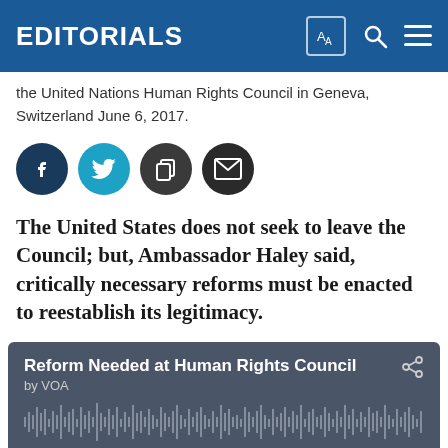EDITORIALS
the United Nations Human Rights Council in Geneva, Switzerland June 6, 2017.
[Figure (other): Social sharing buttons: Facebook, Twitter, Copy, Email]
The United States does not seek to leave the Council; but, Ambassador Haley said, critically necessary reforms must be enacted to reestablish its legitimacy.
[Figure (other): Audio player: Reform Needed at Human Rights Council by VOA. Duration 0:03:25, current position 0:00.]